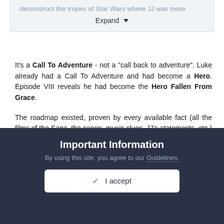deconstruct the tropes of Star Wars where JJ was more
Expand
It's a Call To Adventure - not a "call back to adventure". Luke already had a Call To Adventure and had become a Hero. Episode VIII reveals he had become the Hero Fallen From Grace.
The roadmap existed, proven by every available fact (all the films of the Saga, the canon, music clues, JJ's statements, etc.) This "made up film-to-film as they went along" theory is complete and utter nonsense based entirely in rumor, speculation, and ignorance.
Important Information
By using this site, you agree to our Guidelines.
✓ I accept